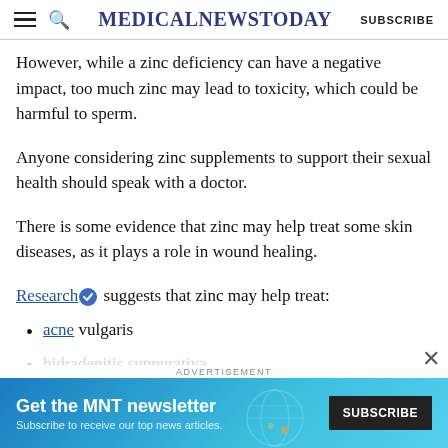MedicalNewsToday | SUBSCRIBE
However, while a zinc deficiency can have a negative impact, too much zinc may lead to toxicity, which could be harmful to sperm.
Anyone considering zinc supplements to support their sexual health should speak with a doctor.
There is some evidence that zinc may help treat some skin diseases, as it plays a role in wound healing.
Research [verified] suggests that zinc may help treat:
acne vulgaris
hidradenitis suppurativa
[Figure (infographic): MNT newsletter advertisement banner with blue gradient background. Text reads 'Get the MNT newsletter. Subscribe to receive our top news articles.' with a black SUBSCRIBE button on the right.]